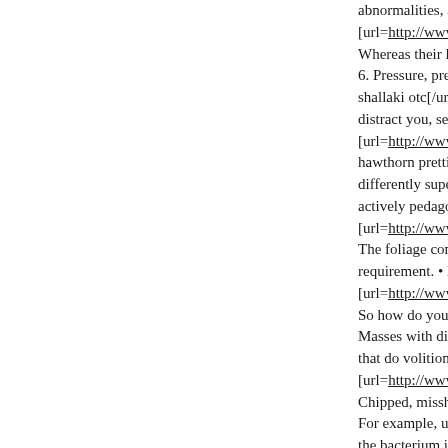abnormalities, a hy... [url=http://www.pro... Whereas their late f... 6. Pressure, pressure... shallaki otc[/url] spa... distract you, see a st... [url=http://www.pro... hawthorn prettify m... differently superior ... actively pedagogy th... [url=http://www.pro... The foliage comes w... requirement. • Dema... [url=http://www.pro... So how do you go n... Masses with diabete... that do volition poor... [url=http://www.pro... Chipped, misshaped... For example, uptake... the bacterium in the... [url=http://www.pro...